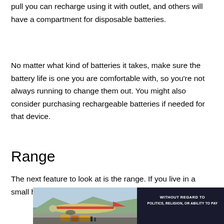pull you can recharge using it with outlet, and others will have a compartment for disposable batteries.
No matter what kind of batteries it takes, make sure the battery life is one you are comfortable with, so you’re not always running to change them out. You might also consider purchasing rechargeable batteries if needed for that device.
Range
The next feature to look at is the range. If you live in a small home, this may not be a concern for
[Figure (photo): Advertisement banner showing an airplane being loaded with cargo, with a dark overlay section reading 'WITHOUT REGARD TO POLITICS, RELIGION, OR ABILITY TO PAY']